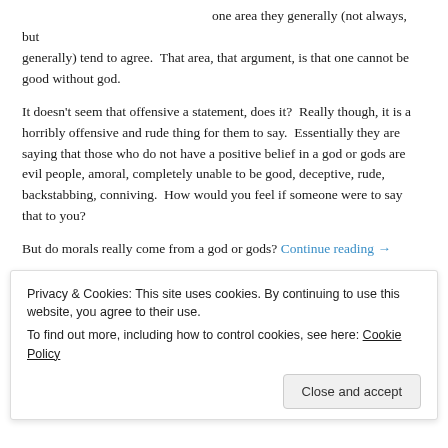one area they generally (not always, but generally) tend to agree. That area, that argument, is that one cannot be good without god.
It doesn't seem that offensive a statement, does it? Really though, it is a horribly offensive and rude thing for them to say. Essentially they are saying that those who do not have a positive belief in a god or gods are evil people, amoral, completely unable to be good, deceptive, rude, backstabbing, conniving. How would you feel if someone were to say that to you?
But do morals really come from a god or gods? Continue reading →
Share this:
[Figure (other): Three social share buttons: Twitter (blue), Facebook (dark blue), and a grey more-options button]
Privacy & Cookies: This site uses cookies. By continuing to use this website, you agree to their use. To find out more, including how to control cookies, see here: Cookie Policy
Close and accept